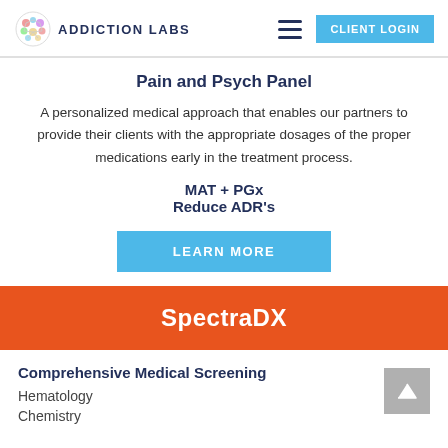ADDICTION LABS
Pain and Psych Panel
A personalized medical approach that enables our partners to provide their clients with the appropriate dosages of the proper medications early in the treatment process.
MAT + PGx
Reduce ADR's
LEARN MORE
SpectraDX
Comprehensive Medical Screening
Hematology
Chemistry